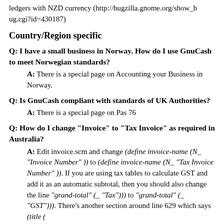ledgers with NZD currency (http://bugzilla.gnome.org/show_bug.cgi?id=430187)
Country/Region specific
Q: I have a small business in Norway. How do I use GnuCash to meet Norwegian standards?
A: There is a special page on Accounting your Business in Norway.
Q: Is GnuCash compliant with standards of UK Authorities?
A: There is a special page on Pas 76
Q: How do I change "Invoice" to "Tax Invoice" as required in Australia?
A: Edit invoice.scm and change (define invoice-name (N_ "Invoice Number" )) to (define invoice-name (N_ "Tax Invoice Number" )). If you are using tax tables to calculate GST and add it as an automatic subtotal, then you should also change the line "grand-total" (_ "Tax"))) to "grand-total" (_ "GST"))). There's another section around line 629 which says (title (